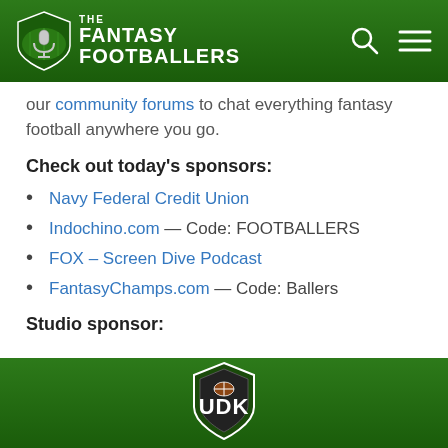THE FANTASY FOOTBALLERS
our community forums to chat everything fantasy football anywhere you go.
Check out today's sponsors:
Navy Federal Credit Union
Indochino.com — Code: FOOTBALLERS
FOX – Screen Dive Podcast
FantasyChamps.com — Code: Ballers
Studio sponsor:
[Figure (logo): Green banner with a fantasy football shield logo at the bottom of the page]